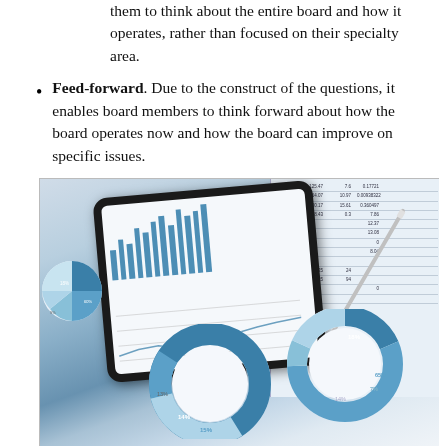them to think about the entire board and how it operates, rather than focused on their specialty area.
Feed-forward. Due to the construct of the questions, it enables board members to think forward about how the board operates now and how the board can improve on specific issues.
[Figure (photo): Photograph of a tablet device displaying bar charts and a line chart, surrounded by printed spreadsheet data and pie/donut charts, with a silver pen resting on the documents.]